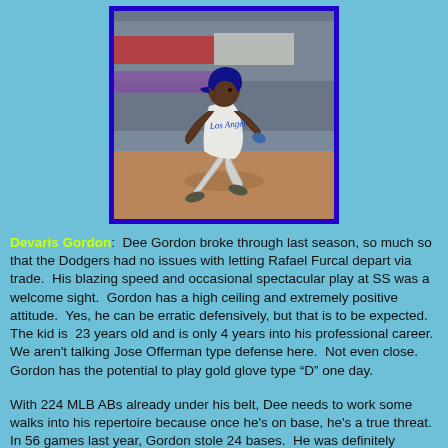[Figure (photo): A Los Angeles Dodgers player in a white uniform with 'Los Angeles' script, wearing a batting helmet and gloves, running at full speed on a baseball field at night. The player is captured mid-stride. The photo has a bright blue border.]
Devaris Gordon: Dee Gordon broke through last season, so much so that the Dodgers had no issues with letting Rafael Furcal depart via trade. His blazing speed and occasional spectacular play at SS was a welcome sight. Gordon has a high ceiling and extremely positive attitude. Yes, he can be erratic defensively, but that is to be expected. The kid is 23 years old and is only 4 years into his professional career. We aren't talking Jose Offerman type defense here. Not even close. Gordon has the potential to play gold glove type "D" one day.
With 224 MLB ABs already under his belt, Dee needs to work some walks into his repertoire because once he's on base, he's a true threat. In 56 games last year, Gordon stole 24 bases. He was definitely overmatched at the plate